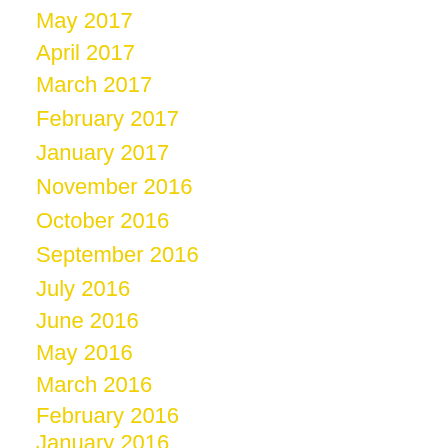May 2017
April 2017
March 2017
February 2017
January 2017
November 2016
October 2016
September 2016
July 2016
June 2016
May 2016
March 2016
February 2016
January 2016